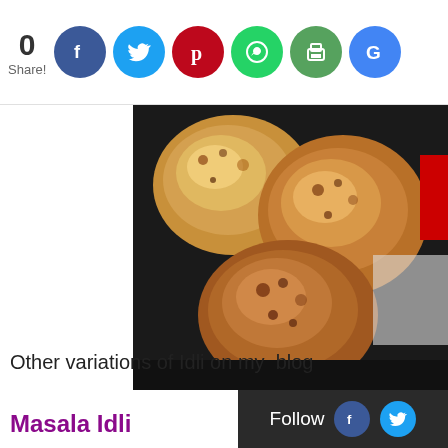0 Share! [Facebook] [Twitter] [Pinterest] [WhatsApp] [Print] [Google]
[Figure (photo): Close-up photo of golden-brown fried or baked idli pieces on a dark background]
Other variations of Idli on my  blog
Masala Idli
Follow